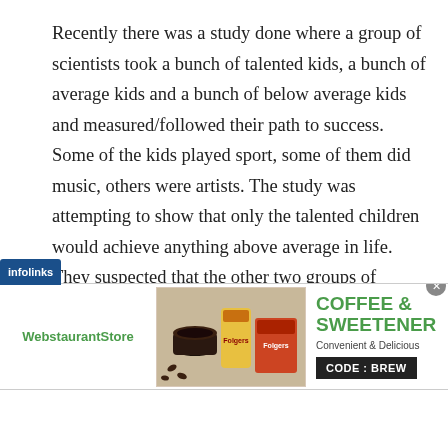Recently there was a study done where a group of scientists took a bunch of talented kids, a bunch of average kids and a bunch of below average kids and measured/followed their path to success. Some of the kids played sport, some of them did music, others were artists. The study was attempting to show that only the talented children would achieve anything above average in life. They suspected that the other two groups of children would fail and thus live a life of mediocrity.
[Figure (screenshot): An advertisement banner for WebstaurantStore featuring coffee and sweetener products with text 'COFFEE & SWEETENER', 'Convenient & Delicious', and 'CODE: BREW']